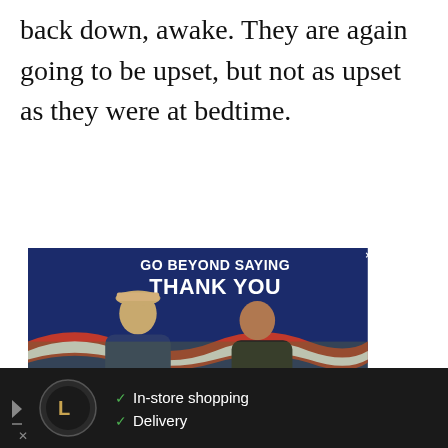back down, awake. They are again going to be upset, but not as upset as they were at bedtime.
[Figure (photo): Advertisement image: 'GO BEYOND SAYING THANK YOU' military support ad showing two people exchanging a box, with 'JOIN US' red banner and Operation Gratitude logo at bottom. Side panel shows heart icon with count 268, share icon. 'WHAT'S NEXT → Are Montessori...' text visible on right.]
[Figure (screenshot): Bottom advertisement bar showing a circular logo, checkmarks for 'In-store shopping' and 'Delivery', a blue diamond arrow icon, and a dark channel logo on black background.]